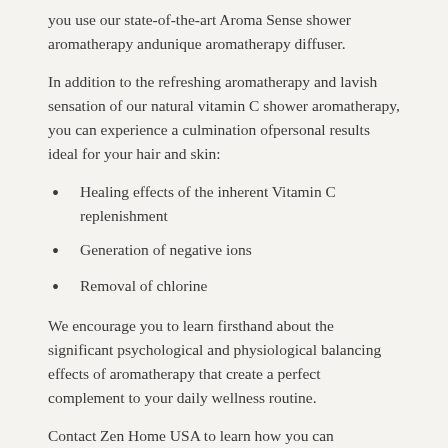you use our state-of-the-art Aroma Sense shower aromatherapy andunique aromatherapy diffuser.
In addition to the refreshing aromatherapy and lavish sensation of our natural vitamin C shower aromatherapy, you can experience a culmination ofpersonal results ideal for your hair and skin:
Healing effects of the inherent Vitamin C replenishment
Generation of negative ions
Removal of chlorine
We encourage you to learn firsthand about the significant psychological and physiological balancing effects of aromatherapy that create a perfect complement to your daily wellness routine.
Contact Zen Home USA to learn how you can experience aromatherapy in Denver every time you shower!